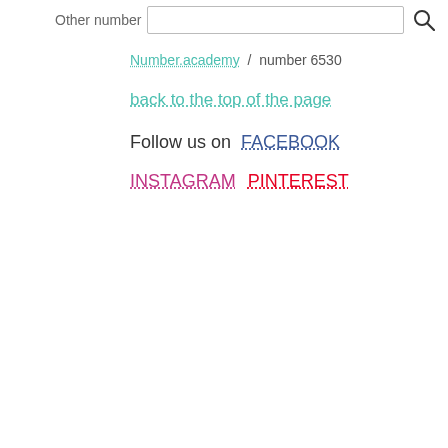Other number [input field] [search icon]
Number.academy / number 6530
back to the top of the page
Follow us on FACEBOOK
INSTAGRAM PINTEREST